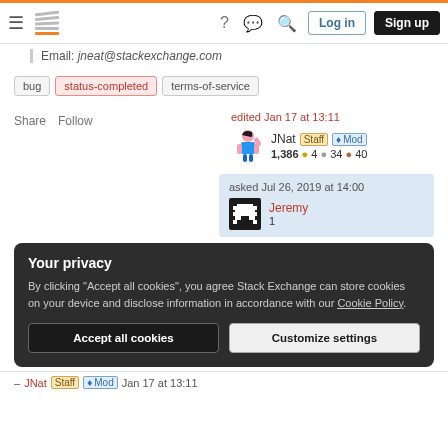Stack Exchange navigation bar with Log in and Sign up buttons
Email: jneat@stackexchange.com (truncated)
bug
status-completed
terms-of-service
Share  Follow
edited Jan 17 at 13:11
JNat  Staff  Mod
1,386  4  34  40
asked Jul 26, 2019 at 14:00
Jeremy
1
Your privacy
By clicking "Accept all cookies", you agree Stack Exchange can store cookies on your device and disclose information in accordance with our Cookie Policy.
Accept all cookies    Customize settings
– JNat  Staff  Mod  Jan 17 at 13:11